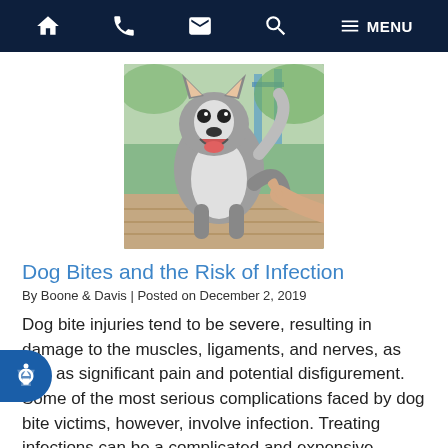Navigation bar with home, phone, email, search, and menu icons
[Figure (photo): A husky dog with mouth open, appearing to bark or bite, with a human hand reaching toward it, outdoors near playground equipment]
Dog Bites and the Risk of Infection
By Boone & Davis | Posted on December 2, 2019
Dog bite injuries tend to be severe, resulting in damage to the muscles, ligaments, and nerves, as well as significant pain and potential disfigurement. Some of the most serious complications faced by dog bite victims, however, involve infection. Treating infections can be a complicated and expensive process, so if you were recently bitten by… Read More »